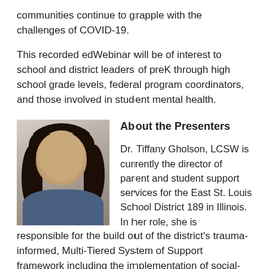communities continue to grapple with the challenges of COVID-19.
This recorded edWebinar will be of interest to school and district leaders of preK through high school grade levels, federal program coordinators, and those involved in student mental health.
[Figure (photo): Headshot photo of Dr. Tiffany Gholson, a woman with dark hair, smiling.]
About the Presenters
Dr. Tiffany Gholson, LCSW is currently the director of parent and student support services for the East St. Louis School District 189 in Illinois. In her role, she is responsible for the build out of the district's trauma-informed, Multi-Tiered System of Support framework including the implementation of social-emotional learning. She creates, implements, and performs district-aligned...